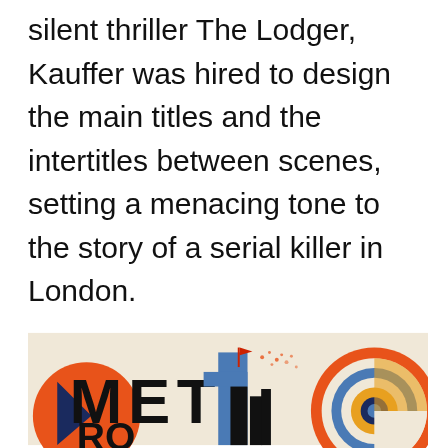silent thriller The Lodger, Kauffer was hired to design the main titles and the intertitles between scenes, setting a menacing tone to the story of a serial killer in London.
[Figure (illustration): Partial view of a colorful Art Deco poster showing the word 'METRO' partially visible. The poster features bold geometric shapes in orange, red, blue, black, and beige/cream colors, with circular concentric rings on the right side and angular letterforms on the left.]